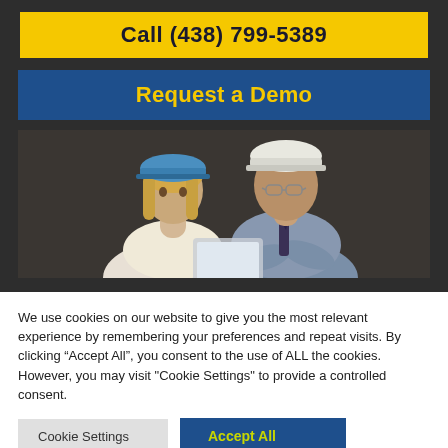Call (438) 799-5389
Request a Demo
[Figure (photo): Two construction workers wearing hard hats (one blue, one white) looking down at a tablet or document together. The woman has blonde hair and wears a blue hard hat; the man is older, wearing glasses and a white hard hat with a tie.]
We use cookies on our website to give you the most relevant experience by remembering your preferences and repeat visits. By clicking “Accept All”, you consent to the use of ALL the cookies. However, you may visit "Cookie Settings" to provide a controlled consent.
Cookie Settings
Accept All